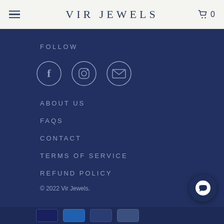VIR JEWELS
FOLLOW
[Figure (illustration): Three circular social media icons: Facebook (f), Instagram (camera), and Email (envelope), outlined in light color on dark navy background]
ABOUT US
FAQS
CONTACT
TERMS OF SERVICE
REFUND POLICY
© 2022 Vir Jewels.